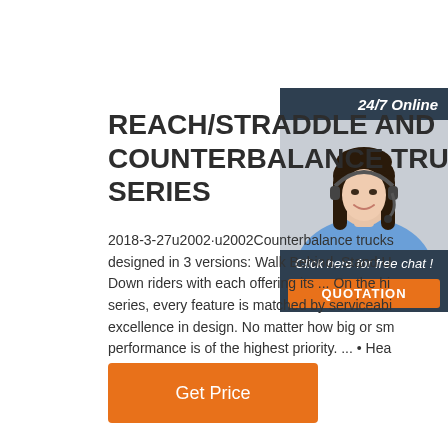[Figure (photo): Customer service representative wearing headset, smiling. Sidebar widget with dark navy background, showing '24/7 Online' text, photo of woman, 'Click here for free chat!' text, and orange QUOTATION button.]
REACH/STRADDLE AND COUNTERBALANCE TRUCK SERIES
2018-3-27u2002·u2002Counterbalance trucks designed in 3 versions: Walk Behind, Stand Up Down riders with each offering its ... On the hi series, every feature is matched by serviceabi excellence in design. No matter how big or sm performance is of the highest priority. ... • Hea motor and gear pump provide ...
Get Price